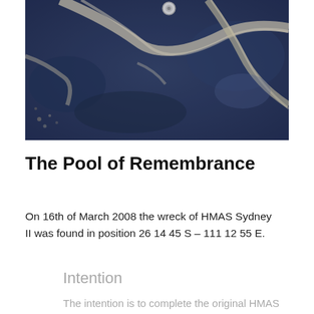[Figure (photo): Close-up photograph of dark blue stone or granite surface with light-colored veining or cracks running through it, and a metallic bolt or stud visible near the top center.]
The Pool of Remembrance
On 16th of March 2008 the wreck of HMAS Sydney II was found in position 26 14 45 S – 111 12 55 E.
Intention
The intention is to complete the original HMAS Sydney II Memorial project by incorporating